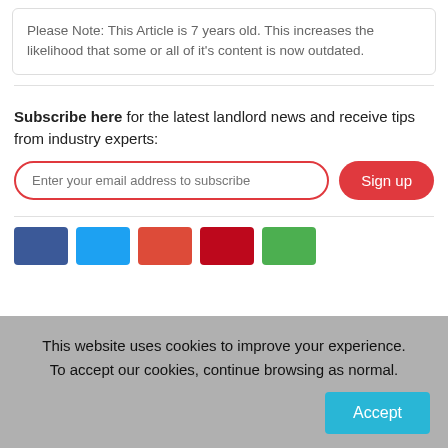Please Note: This Article is 7 years old. This increases the likelihood that some or all of it's content is now outdated.
Subscribe here for the latest landlord news and receive tips from industry experts:
This website uses cookies to improve your experience. To accept our cookies, continue browsing as normal.